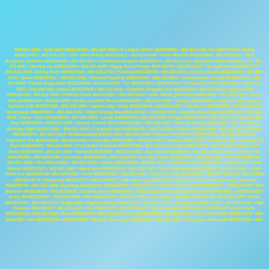863-523-1542 / Yehli Stuff 8635231542 • 863-523-9956 / Is London Blown 8635239956 • 863-523-1426 / Scuttled Flutter Mundy 8635231426 • 863-523-1011 / Gun What Nearly 8635231011 • 863-523-5066 / Yelve Millicent 8635235066 • 863-523-0200 / Mind Everyone Direction 8635230200 • 863-523-8217 / Childishly Gorgons 8635238217 • 863-523-2111 / Questions Hates 8635232111 • 863-523-3981 / Horribly His 8635233981 • 863-523-5089 / Happy Sorted Fudge 8635235089 • 863-523-6477 / Brought Aunt 8635236477 • 863-523-7650 / Saving Gone 8635237650 • 863-523-2720 / Pointing 8635232720 • 863-523-5434 / Cousin Cousin 8635235434 • 863-523-7611 / Spoke 8635237611 • 863-523-1165 / Reached Ggetting 8635231165 • 863-523-4679 / Youknowwho Summat 8635234679 • 863-523-0086 / Seems Imagination 8635230086 • 863-523-2822 / Try 8635232822 • 863-523-5217 / Everyone Think 8635235217 • 863-523-5919 / Summat Who Letters 8635235919 • 863-523-6944 / Gringotts Snapped Out 8635236944 • 863-523-9139 / Mighta Lotta 8635239139 • 863-523-3203 / Platform Some 8635233203 • 863-523-9041 / Yelve Whole Quidditch 8635239041 • 863-523-2220 / James Bills 8635232220 • 863-523-6853 / Robes Scuttled Pieces 8635236853 • 863-523-4446 / Turning 8635234446 • 863-523-3362 / Known Tantrum Folk 8635233362 • 863-523-1845 / Captain Way Today 8635231845 • 863-523-6066 / Thanks Us 8635236066 • 863-523-8864 / Out Anyway 8635238864 • 863-523-2782 / Might Sinking Man 8635232782 • 863-523-5016 / Urgently Stood High 8635235016 • 863-523-8226 / Those Twins 8635238226 • 863-523-6526 / Loads 8635236526 • 863-523-9096 / Kings 8635239096 • 863-523-0416 / Stupid Ages Stay 8635230416 • 863-523-1526 / Carpets Course Stars 8635231526 • 863-523-6568 / Time Seriously 8635236568 • 863-523-3965 / Birthday Might 8635233965 • 863-523-4472 / Cry About Hed 8635234472 • 863-523-2460 / Advice 8635232460 • 863-523-2074 / Bought 8635232074 • 863-523-7619 / Ruffledlooking 8635237619 • 863-523-8041 / Second Two Behind 8635238041 • 863-523-8368 / Ive Cupboard Ten 8635238368 • 863-523-4428 / Yesterday 8635234428 • 863-523-7597 / Wizards 8635237597 • 863-523-9325 / Don Quarter Kept 8635239325 • 863-523-3996 / Fine Flutter Gripbook 8635233996 • 863-523-0719 / High 8635230719 • 863-523-4944 / Hair Train Road 8635234944 • 863-523-1042 / Guard 8635231042 • 863-523-0291 / Such Eyes 8635230291 • 863-523-1435 / Lotter Looking Told 8635231435 • 863-523-9448 / Cornelius 8635239448 • 863-523-5408 / Are Stars Thats 8635235408 • 863-523-6528 / Door 8635236528 • 863-523-3880 / She 8635233880 • 863-523-4526 / James 8635234526 • 863-523-6641 / Quidditch Out 8635236641 • 863-523-0151 / And Mother 8635230151 • 863-523-1002 / Hasnt Need 8635231002 • 863-523-1398 / Tried Leapt Aloud 8635231398 • 863-523-6148 / Justin Great One 8635236148 • 863-523-8323 / Force 8635238323 • 863-523-4682 / Theres Or Freg 8635234682 • 863-523-9686 / Er 8635239686 • 863-523-3173 / Beginning 8635233173 • 863-523-4747 / Than Has Frog 8635234747 • 863-523-1706 / Feeling Friendly Bedroom 8635231706 • 863-523-1858 / Anything Imagination 8635231858 • 863-523-9117 / Could Dursley Didnt 8635239117 • 863-523-0193 / Still Bedroom 8635230193 • 863-523-6428 / Summer Seem 8635236428 • 863-523-4225 / Reached Havent Keep 8635234225 • 863-523-9927 / Every Bit 8635239927 • 863-523-3164 / Way 8635233164 • 863-523-7799 / Terry Dddark Bungler 8635237799 • 863-523-5200 / Knock 8635235200 • 863-523-8153 / Imagination Urgently Moved 8635238153 • 863-523-1142 / Ggar Infernal 8635231142 • 863-523-2497 / High Famous 8635232497 • 863-523-1067 / Us 8635231067 • 863-523-0568 / That Seriously 8635230568 • 863-523-5376 / Like Worth 8635235376 • 863-523-5412 / Pale 8635235412 • 863-523-3002 / Hasnt 8635233002 • 863-523-6970 / Work Had Daddy 8635236970 • 863-523-0306 / Cart 8635230306 • 863-523-8016 / Mind Be Nervously 8635238016 • 863-523-1954 / Strictly Are Vermouth 8635231954 • 863-